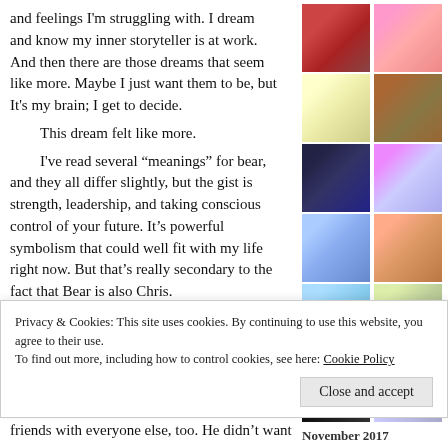and feelings I'm struggling with. I dream and know my inner storyteller is at work. And then there are those dreams that seem like more. Maybe I just want them to be, but It's my brain; I get to decide.
This dream felt like more.
I've read several “meanings” for bear, and they all differ slightly, but the gist is strength, leadership, and taking conscious control of your future. It’s powerful symbolism that could well fit with my life right now. But that’s really secondary to the fact that Bear is also Chris.
He always associated with bears. He was a
[Figure (illustration): Grid of 12 book covers in 3 rows of 4]
November 2017
| M | T | W | T | F | S | S |
| --- | --- | --- | --- | --- | --- | --- |
|  |  | 1 | 2 | 3 | 4 | 5 |
| 6 | 7 | 8 | 9 | 10 | 11 | 12 |
| 13 | 14 | 15 | 16 | 17 | 18 | 19 |
| 20 | 21 | 22 | 23 | 24 | 25 | 26 |
Privacy & Cookies: This site uses cookies. By continuing to use this website, you agree to their use.
To find out more, including how to control cookies, see here: Cookie Policy
Close and accept
friends with everyone else, too. He didn’t want